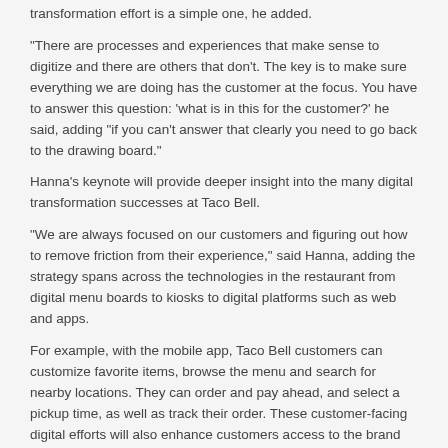transformation effort is a simple one, he added.
"There are processes and experiences that make sense to digitize and there are others that don't. The key is to make sure everything we are doing has the customer at the focus. You have to answer this question: 'what is in this for the customer?' he said, adding "if you can't answer that clearly you need to go back to the drawing board."
Hanna's keynote will provide deeper insight into the many digital transformation successes at Taco Bell.
"We are always focused on our customers and figuring out how to remove friction from their experience," said Hanna, adding the strategy spans across the technologies in the restaurant from digital menu boards to kiosks to digital platforms such as web and apps.
For example, with the mobile app, Taco Bell customers can customize favorite items, browse the menu and search for nearby locations. They can order and pay ahead, and select a pickup time, as well as track their order. These customer-facing digital efforts will also enhance customers access to the brand via delivery and group ordering.
"It's about eliminating any friction, giving customers more